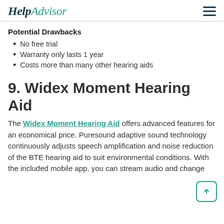HelpAdvisor
Potential Drawbacks
No free trial
Warranty only lasts 1 year
Costs more than many other hearing aids
9. Widex Moment Hearing Aid
The Widex Moment Hearing Aid offers advanced features for an economical price. Puresound adaptive sound technology continuously adjusts speech amplification and noise reduction of the BTE hearing aid to suit environmental conditions. With the included mobile app, you can stream audio and change